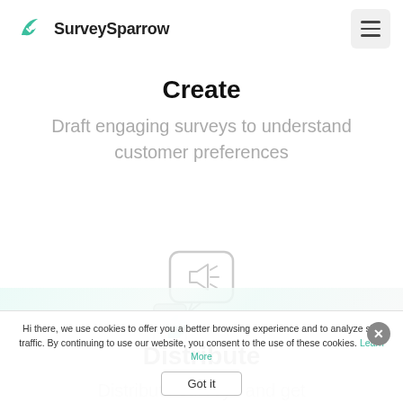[Figure (logo): SurveySparrow logo: green bird/leaf icon with checkmark and 'SurveySparrow' text]
Create
Draft engaging surveys to understand customer preferences
[Figure (illustration): Two overlapping icons: a speech bubble with megaphone (gray outline) and a green thumbs-up hand]
Distribute
Distribute surveys and get
Hi there, we use cookies to offer you a better browsing experience and to analyze site traffic. By continuing to use our website, you consent to the use of these cookies. Learn More
Got it